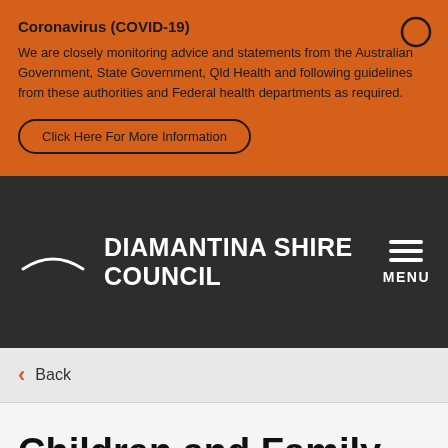Coronavirus (COVID-19)
We are closely monitoring advice and statements from the Australian Government, State Government, Qld Health and following guidelines from these authorities and Federal health departments as required.
Click Here For More Information
DIAMANTINA SHIRE COUNCIL
MENU
Back
Children and Family Services